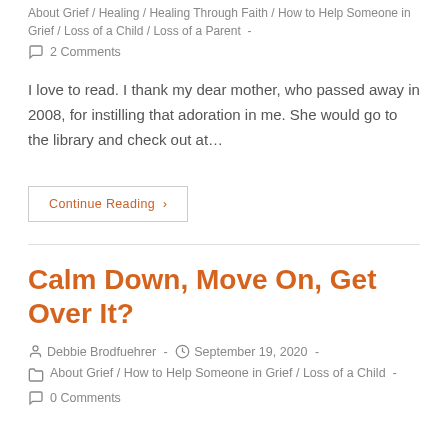About Grief / Healing / Healing Through Faith / How to Help Someone in Grief / Loss of a Child / Loss of a Parent -
2 Comments
I love to read. I thank my dear mother, who passed away in 2008, for instilling that adoration in me. She would go to the library and check out at…
Continue Reading ›
Calm Down, Move On, Get Over It?
Debbie Brodfuehrer - September 19, 2020 -
About Grief / How to Help Someone in Grief / Loss of a Child -
0 Comments